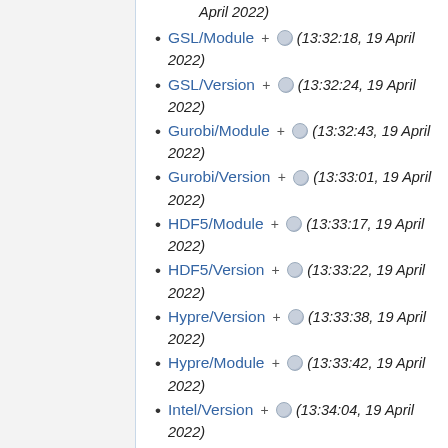April 2022)
GSL/Module + (13:32:18, 19 April 2022)
GSL/Version + (13:32:24, 19 April 2022)
Gurobi/Module + (13:32:43, 19 April 2022)
Gurobi/Version + (13:33:01, 19 April 2022)
HDF5/Module + (13:33:17, 19 April 2022)
HDF5/Version + (13:33:22, 19 April 2022)
Hypre/Version + (13:33:38, 19 April 2022)
Hypre/Module + (13:33:42, 19 April 2022)
Intel/Version + (13:34:04, 19 April 2022)
Intel/Module (partial, cut off)